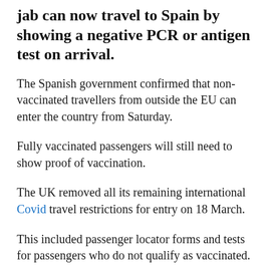jab can now travel to Spain by showing a negative PCR or antigen test on arrival.
The Spanish government confirmed that non-vaccinated travellers from outside the EU can enter the country from Saturday.
Fully vaccinated passengers will still need to show proof of vaccination.
The UK removed all its remaining international Covid travel restrictions for entry on 18 March.
This included passenger locator forms and tests for passengers who do not qualify as vaccinated.